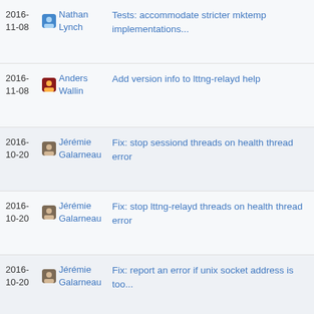2016-11-08 Nathan Lynch — Tests: accommodate stricter mktemp implementations...
2016-11-08 Anders Wallin — Add version info to lttng-relayd help
2016-10-20 Jérémie Galarneau — Fix: stop sessiond threads on health thread error
2016-10-20 Jérémie Galarneau — Fix: stop lttng-relayd threads on health thread error
2016-10-20 Jérémie Galarneau — Fix: report an error if unix socket address is too...
2016- (partial) — Remove unmaintained TODO file